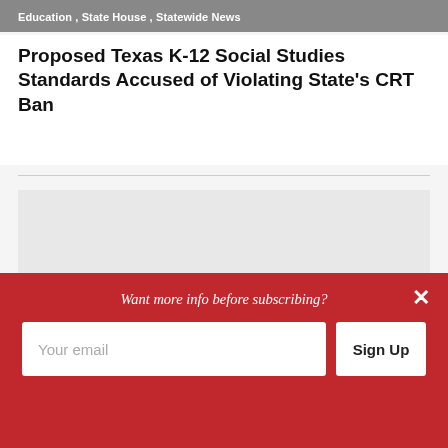Education , State House , Statewide News
Proposed Texas K-12 Social Studies Standards Accused of Violating State's CRT Ban
[Figure (photo): Gray placeholder image area for an article photo, with a dark gray bar at the bottom left]
Want more info before subscribing?
Your email
Sign Up